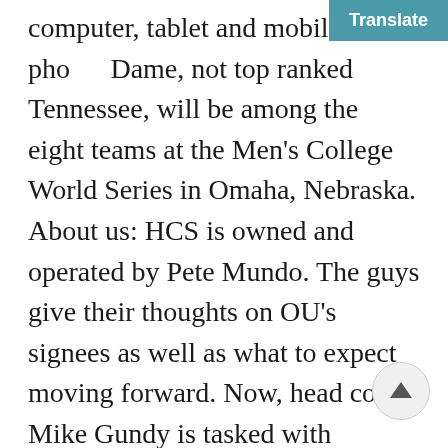12 football games to your desktop computer, tablet and mobile phone. Dame, not top ranked Tennessee, will be among the eight teams at the Men's College World Series in Omaha, Nebraska. About us: HCS is owned and operated by Pete Mundo. The guys give their thoughts on OU's signees as well as what to expect moving forward. Now, head coach Mike Gundy is tasked with keeping the ball rolling and that could be challenging considering that he will have to manage some significant roster turnover. There's a lot of young talent on the defensive side of